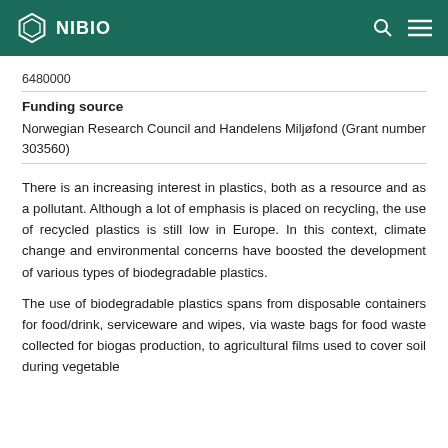NIBIO
6480000
Funding source
Norwegian Research Council and Handelens Miljøfond (Grant number 303560)
There is an increasing interest in plastics, both as a resource and as a pollutant. Although a lot of emphasis is placed on recycling, the use of recycled plastics is still low in Europe. In this context, climate change and environmental concerns have boosted the development of various types of biodegradable plastics.
The use of biodegradable plastics spans from disposable containers for food/drink, serviceware and wipes, via waste bags for food waste collected for biogas production, to agricultural films used to cover soil during vegetable